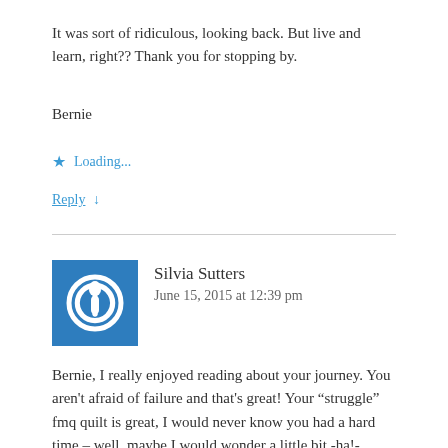It was sort of ridiculous, looking back. But live and learn, right?? Thank you for stopping by.
Bernie
★ Loading...
Reply ↓
Silvia Sutters
June 15, 2015 at 12:39 pm
Bernie, I really enjoyed reading about your journey. You aren't afraid of failure and that's great! Your "struggle" fmq quilt is great, I would never know you had a hard time – well, maybe I would wonder a little bit -ha!-, because I always struggle